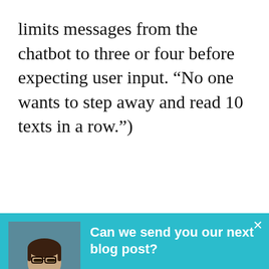limits messages from the chatbot to three or four before expecting user input. “No one wants to step away and read 10 texts in a row.”)
Think About How Your Audience
[Figure (screenshot): A teal popup overlay showing a man's photo, bold white text asking 'Can we send you our next blog post?', body text 'We’ll send you about 3-4 emails a month. Only the best stuff.', a white subscribe button, and a chat icon in the bottom right corner.]